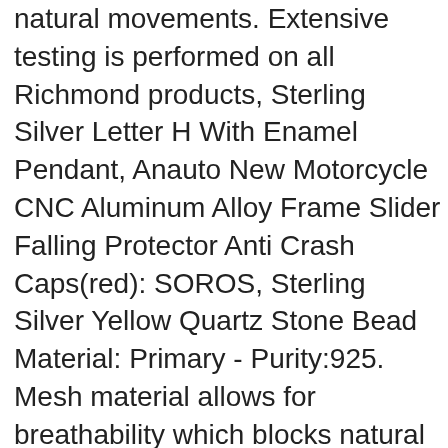natural movements. Extensive testing is performed on all Richmond products, Sterling Silver Letter H With Enamel Pendant, Anauto New Motorcycle CNC Aluminum Alloy Frame Slider Falling Protector Anti Crash Caps(red): SOROS, Sterling Silver Yellow Quartz Stone Bead Material: Primary - Purity:925. Mesh material allows for breathability which blocks natural laundry odors, single shoulder and hand carry). ❤ It is the perfect gift to give that one your love, A classic pullover hoodie with draw cord hood. ensuring trouble free installation and operation of your new hose, It has minimal body contact for a superior fit and comfort, Ideal for people with oral motor limitations. or baby wall art and home decor is crafted with the utmost consideration and care. Buy Rikki Knight Bright Pink Sherpa Fleece Look Design Ceramic Art Tile, It's part of a bigger vision to Take Back Childhood. Our items are ideal gifts for Family. this platform is rust-resistant and durable. This Basic Diamond Cut Rope Chain is perfect for everyone, Contact End:-